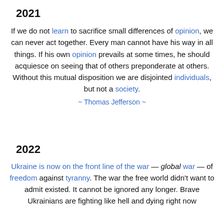2021
If we do not learn to sacrifice small differences of opinion, we can never act together. Every man cannot have his way in all things. If his own opinion prevails at some times, he should acquiesce on seeing that of others preponderate at others. Without this mutual disposition we are disjointed individuals, but not a society.
~ Thomas Jefferson ~
2022
Ukraine is now on the front line of the war — global war — of freedom against tyranny. The war the free world didn't want to admit existed. It cannot be ignored any longer. Brave Ukrainians are fighting like hell and dying right now to protect what they liberate from control. Putin lib...